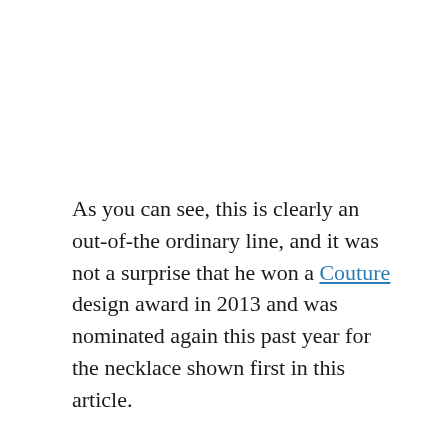As you can see, this is clearly an out-of-the ordinary line, and it was not a surprise that he won a Couture design award in 2013 and was nominated again this past year for the necklace shown first in this article.